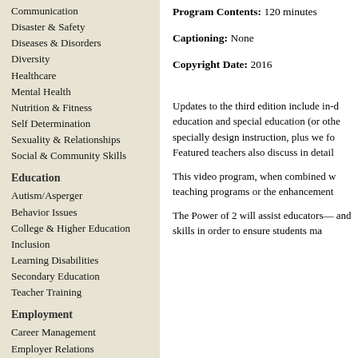Communication
Disaster & Safety
Diseases & Disorders
Diversity
Healthcare
Mental Health
Nutrition & Fitness
Self Determination
Sexuality & Relationships
Social & Community Skills
Education
Autism/Asperger
Behavior Issues
College & Higher Education
Inclusion
Learning Disabilities
Secondary Education
Teacher Training
Employment
Career Management
Employer Relations
Job Retention
Job Search
Workplace Skills
Fanlight Productions Collection
New Resources
Program Contents: 120 minutes
Captioning: None
Copyright Date: 2016
Updates to the third edition include in-d education and special education (or othe specially design instruction, plus we fo Featured teachers also discuss in detail
This video program, when combined w teaching programs or the enhancement
The Power of 2 will assist educators— and skills in order to ensure students ma